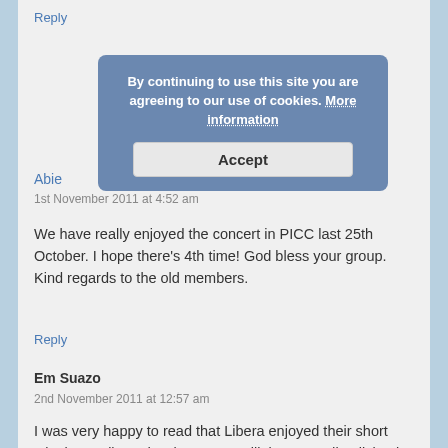Reply
By continuing to use this site you are agreeing to our use of cookies. More information
Accept
Abie
1st November 2011 at 4:52 am
We have really enjoyed the concert in PICC last 25th October. I hope there's 4th time! God bless your group. Kind regards to the old members.
Reply
Em Suazo
2nd November 2011 at 12:57 am
I was very happy to read that Libera enjoyed their short stint in Manila and Cebu. I am a Filipino-Canadian living in Toronto, Ontario and I attended one of your outstanding performances here last spring. It comes to no surprise to me that everywhere Libera goes, they are always very much welcomed and appreciated for their